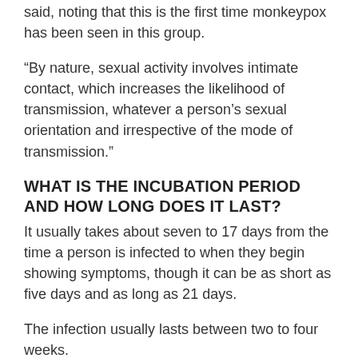said, noting that this is the first time monkeypox has been seen in this group.
“By nature, sexual activity involves intimate contact, which increases the likelihood of transmission, whatever a person’s sexual orientation and irrespective of the mode of transmission.”
WHAT IS THE INCUBATION PERIOD AND HOW LONG DOES IT LAST?
It usually takes about seven to 17 days from the time a person is infected to when they begin showing symptoms, though it can be as short as five days and as long as 21 days.
The infection usually lasts between two to four weeks.